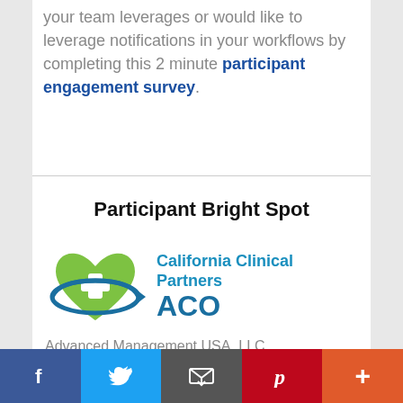your team leverages or would like to leverage notifications in your workflows by completing this 2 minute participant engagement survey.
Participant Bright Spot
[Figure (logo): California Clinical Partners ACO logo — green heart with white plus sign, blue orbital ring, and text 'California Clinical Partners ACO' in blue]
Advanced Management USA, LLC
[Figure (infographic): Social sharing bar with Facebook, Twitter, Email, Pinterest, and More buttons]